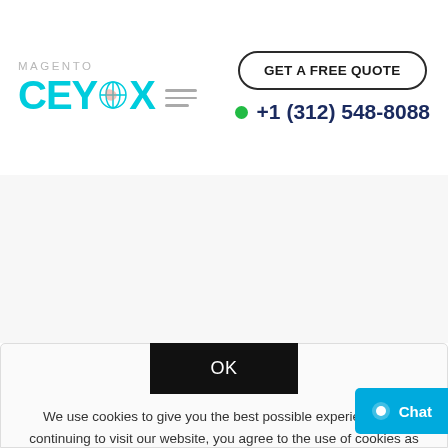MAGENTO CEYMOX — GET A FREE QUOTE +1 (312) 548-8088
[Figure (screenshot): Ceymox Magento agency website header with logo, hamburger menu, GET A FREE QUOTE button, and phone number +1 (312) 548-8088 with green online indicator dot]
OK
We use cookies to give you the best possible experience. By continuing to visit our website, you agree to the use of cookies as described in our Cookie Policy
Chat